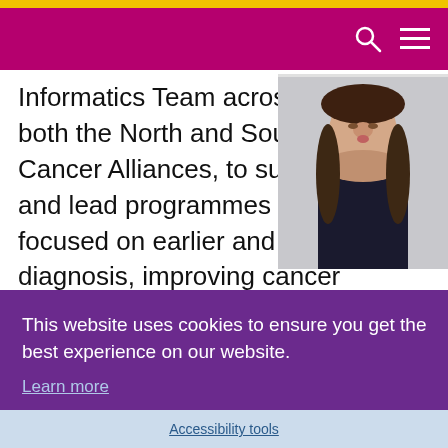Informatics Team across both the North and South Cancer Alliances, to support and lead programmes focused on earlier and faster diagnosis, improving cancer
[Figure (photo): Portrait photo of a woman with long brown hair, smiling, wearing a dark navy blouse]
This website uses cookies to ensure you get the best experience on our website.
Learn more
Got it!
r ten
e and
evaluation, o
th"